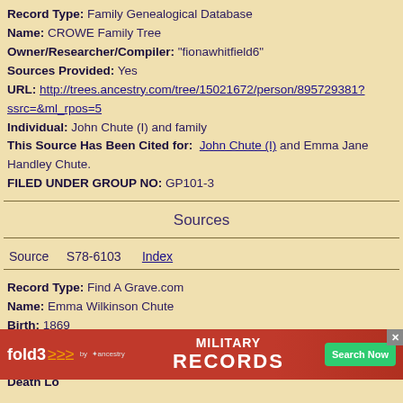Record Type: Family Genealogical Database
Name: CROWE Family Tree
Owner/Researcher/Compiler: "fionawhitfield6"
Sources Provided: Yes
URL: http://trees.ancestry.com/tree/15021672/person/895729381?ssrc=&ml_rpos=5
Individual: John Chute (I) and family
This Source Has Been Cited for: John Chute (I) and Emma Jane Handley Chute.
FILED UNDER GROUP NO: GP101-3
Sources
Source    S78-6103       Index
Record Type: Find A Grave.com
Name: Emma Wilkinson Chute
Birth: 1869
Birth Location: Annapolis County, Nova Scotia, Canada
Death: 19...
Death Location: ..., Nova Scotia, Canada